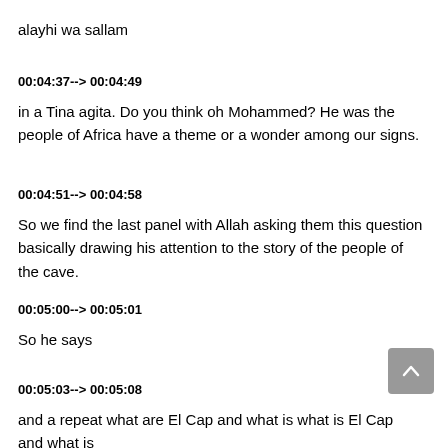alayhi wa sallam
00:04:37--> 00:04:49
in a Tina agita. Do you think oh Mohammed? He was the people of Africa have a theme or a wonder among our signs.
00:04:51--> 00:04:58
So we find the last panel with Allah asking them this question basically drawing his attention to the story of the people of the cave.
00:05:00--> 00:05:01
So he says
00:05:03--> 00:05:08
and a repeat what are El Cap and what is what is El Cap and what is